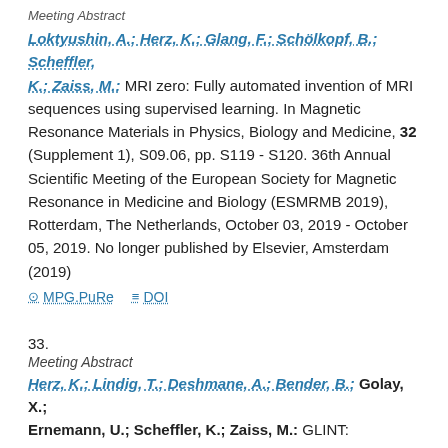Meeting Abstract
Loktyushin, A.; Herz, K.; Glang, F.; Schölkopf, B.; Scheffler, K.; Zaiss, M.: MRI zero: Fully automated invention of MRI sequences using supervised learning. In Magnetic Resonance Materials in Physics, Biology and Medicine, 32 (Supplement 1), S09.06, pp. S119 - S120. 36th Annual Scientific Meeting of the European Society for Magnetic Resonance in Medicine and Biology (ESMRMB 2019), Rotterdam, The Netherlands, October 03, 2019 - October 05, 2019. No longer published by Elsevier, Amsterdam (2019)
⊙ MPG.PuRe   ≡ DOI
33.
Meeting Abstract
Herz, K.; Lindig, T.; Deshmane, A.; Bender, B.; Golay, X.; Ernemann, U.; Scheffler, K.; Zaiss, M.: GLINT: GlucoCEST in neoplastic tumors at 3 T – preliminary application in glioma patients using optimized preparation, imaging, and